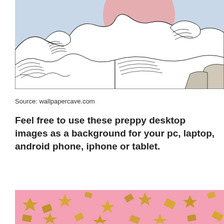[Figure (illustration): A Japanese woodblock-style line illustration of ocean waves (similar to The Great Wave), with a large pink circle representing the sun in the background, set against a pale blue sky. The waves have detailed white curling crests with fine line details.]
Source: wallpapercave.com
Feel free to use these preppy desktop images as a background for your pc, laptop, android phone, iphone or tablet.
[Figure (photo): Pink background with scattered gold/metallic confetti pieces of various shapes (stars, triangles, rectangles).]